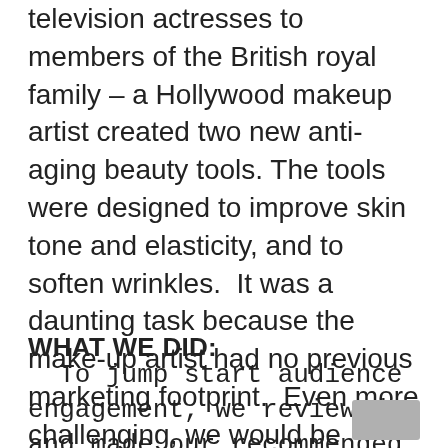television actresses to members of the British royal family – a Hollywood makeup artist created two new anti-aging beauty tools. The tools were designed to improve skin tone and elasticity, and to soften wrinkles.  It was a daunting task because the make-up artist had no previous marketing footprint.  Even more challenging, we would be introducing his products into an extremely competitive cosmetics marketplace and going up against thousands of existing anti-aging alternatives.  In effect, we were tasked with introducing – and selling — a totally new beauty brand.
WHAT WE DID:
To jump start audience engagement, we reviewed and made our recommended changes to the